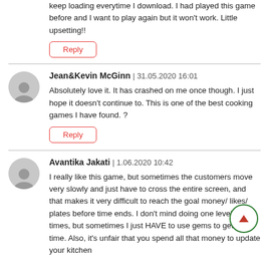keep loading everytime I download. I had played this game before and I want to play again but it won't work. Little upsetting!!
Reply
Jean&Kevin McGinn | 31.05.2020 16:01
Absolutely love it. It has crashed on me once though. I just hope it doesn't continue to. This is one of the best cooking games I have found. ?
Reply
Avantika Jakati | 1.06.2020 10:42
I really like this game, but sometimes the customers move very slowly and just have to cross the entire screen, and that makes it very difficult to reach the goal money/ likes/ plates before time ends. I don't mind doing one level a few times, but sometimes I just HAVE to use gems to get more time. Also, it's unfair that you spend all that money to update your kitchen